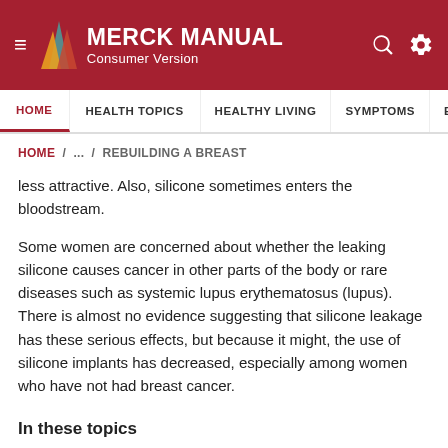MERCK MANUAL Consumer Version
HOME / ... / REBUILDING A BREAST
less attractive. Also, silicone sometimes enters the bloodstream.
Some women are concerned about whether the leaking silicone causes cancer in other parts of the body or rare diseases such as systemic lupus erythematosus (lupus). There is almost no evidence suggesting that silicone leakage has these serious effects, but because it might, the use of silicone implants has decreased, especially among women who have not had breast cancer.
In these topics
Breast Cancer >